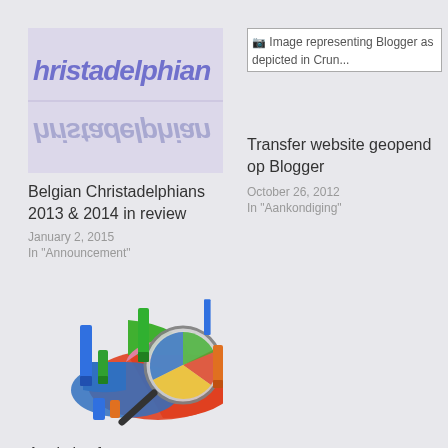[Figure (other): Christadelphian logo image showing mirrored text, purple/blue tones]
Belgian Christadelphians 2013 & 2014 in review
January 2, 2015
In "Announcement"
[Figure (other): Image representing Blogger as depicted in Crun... - broken image placeholder with text]
Transfer website geopend op Blogger
October 26, 2012
In "Aankondiging"
[Figure (other): Analytics chart illustration showing 3D pie chart with magnifying glass and bar charts in various colors]
Analytics for our Christadelphian websites – 2016
January 19, 2017
In "Aankondiging"